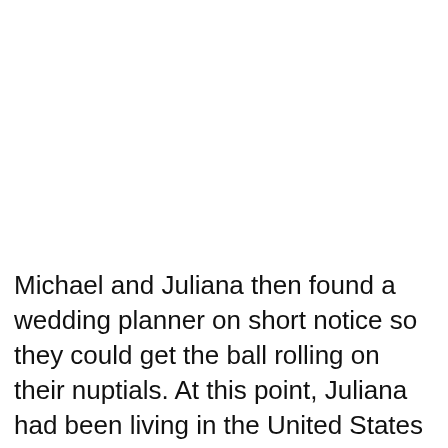Michael and Juliana then found a wedding planner on short notice so they could get the ball rolling on their nuptials. At this point, Juliana had been living in the United States for about two months.
Michael told the wedding planner they'd like good food, good wine, some dancing and about a 40-person guest count. Michael and Juliana had to tell